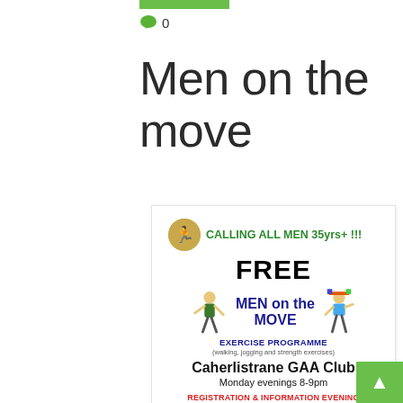💬 0
Men on the move
[Figure (infographic): Flyer for Men on the Move exercise programme at Caherlistrane GAA Club. Text reads: CALLING ALL MEN 35yrs+ !!! FREE MEN on the MOVE EXERCISE PROGRAMME (walking, jogging and strength exercises) Caherlistrane GAA Club Monday evenings 8-9pm REGISTRATION & INFORMATION EVENING MONDAY, 11TH FEBRUARY @ 8pm. Includes cartoon illustrations of men exercising.]